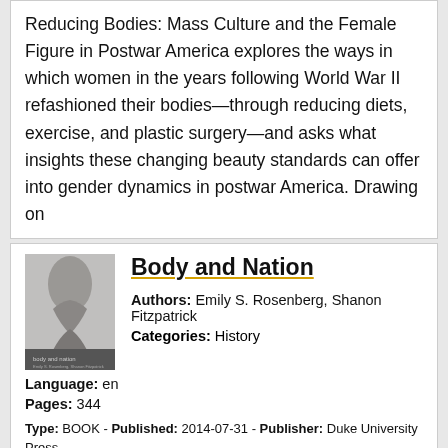Reducing Bodies: Mass Culture and the Female Figure in Postwar America explores the ways in which women in the years following World War II refashioned their bodies—through reducing diets, exercise, and plastic surgery—and asks what insights these changing beauty standards can offer into gender dynamics in postwar America. Drawing on
[Figure (illustration): Book cover of 'Body and Nation' showing a black and white image of a woman's neck/shoulder]
Body and Nation
Authors: Emily S. Rosenberg, Shanon Fitzpatrick
Language: en
Pages: 344
Categories: History
Type: BOOK - Published: 2014-07-31 - Publisher: Duke University Press